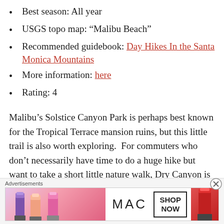Best season: All year
USGS topo map: “Malibu Beach”
Recommended guidebook: Day Hikes In the Santa Monica Mountains
More information: here
Rating: 4
Malibu’s Solstice Canyon Park is perhaps best known for the Tropical Terrace mansion ruins, but this little trail is also worth exploring.  For commuters who don’t necessarily have time to do a huge hike but want to take a short little nature walk, Dry Canyon is perfect.  (It also happens to
[Figure (infographic): Advertisement banner for MAC cosmetics showing lipsticks and 'SHOP NOW' button with MAC logo text]